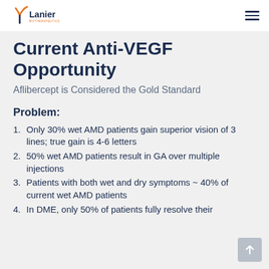Lanier Biotherapeutics
Current Anti-VEGF Opportunity
Aflibercept is Considered the Gold Standard
Problem:
Only 30% wet AMD patients gain superior vision of 3 lines; true gain is 4-6 letters
50% wet AMD patients result in GA over multiple injections
Patients with both wet and dry symptoms ~ 40% of current wet AMD patients
In DME, only 50% of patients fully resolve their...